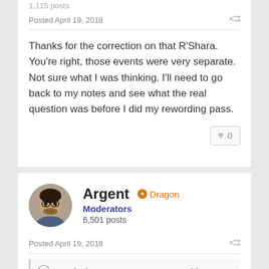1,115 posts
Posted April 19, 2018
Thanks for the correction on that R'Shara. You're right, those events were very separate. Not sure what I was thinking. I'll need to go back to my notes and see what the real question was before I did my rewording pass.
Argent
Dragon
Moderators
6,501 posts
Posted April 19, 2018
On 4/19/2018 at 6:47 PM, ccstat said: